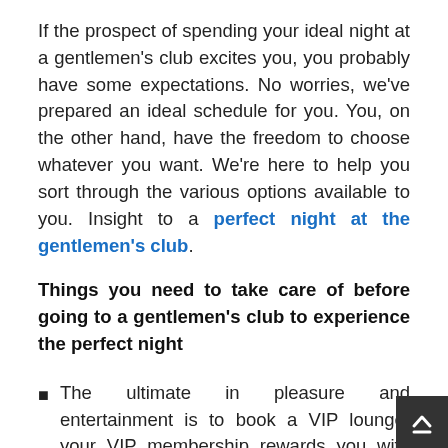If the prospect of spending your ideal night at a gentlemen's club excites you, you probably have some expectations. No worries, we've prepared an ideal schedule for you. You, on the other hand, have the freedom to choose whatever you want. We're here to help you sort through the various options available to you. Insight to a perfect night at the gentlemen's club.
Things you need to take care of before going to a gentlemen's club to experience the perfect night
The ultimate in pleasure and entertainment is to book a VIP lounge; your VIP membership rewards you with unexpected elements that are well worth every penny you spend. This because you have access to party packages